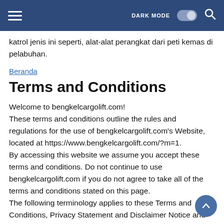DARK MODE [toggle] [search]
katrol jenis ini seperti, alat-alat perangkat dari peti kemas di pelabuhan.
Beranda
Terms and Conditions
Welcome to bengkelcargolift.com!
These terms and conditions outline the rules and regulations for the use of bengkelcargolift.com's Website, located at https://www.bengkelcargolift.com/?m=1.
By accessing this website we assume you accept these terms and conditions. Do not continue to use bengkelcargolift.com if you do not agree to take all of the terms and conditions stated on this page.
The following terminology applies to these Terms and Conditions, Privacy Statement and Disclaimer Notice and all Agreements: "Client", "You" and "Your" refers to you